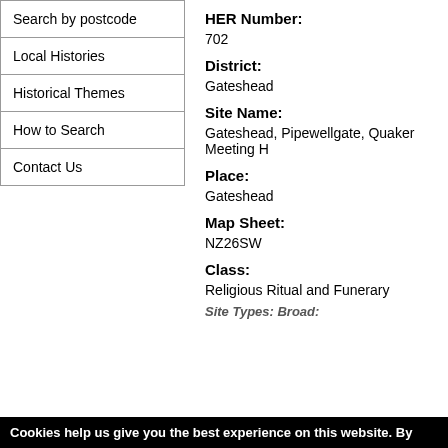Search by postcode
Local Histories
Historical Themes
How to Search
Contact Us
HER Number:
702
District:
Gateshead
Site Name:
Gateshead, Pipewellgate, Quaker Meeting H
Place:
Gateshead
Map Sheet:
NZ26SW
Class:
Religious Ritual and Funerary
Site Types: Broad:
Cookies help us give you the best experience on this website. By